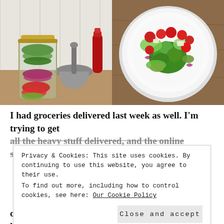[Figure (photo): Two food photos side by side: left shows a mason jar filled with layered vegetables (greens, red onions, red peppers) with a mortar and pestle and red pepper grinder in the background; right shows a white plate with a Greek-style salad of broccoli, cherry tomatoes, cucumber, red onion, and feta cheese.]
I had groceries delivered last week as well. I'm trying to get all the heavy stuff delivered, and the online supermarket I
Privacy & Cookies: This site uses cookies. By continuing to use this website, you agree to their use.
To find out more, including how to control cookies, see here: Our Cookie Policy
Close and accept
once a month, and then I can get fresh stuff at my local